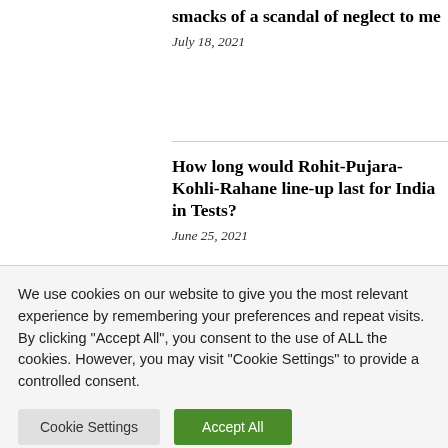smacks of a scandal of neglect to me
July 18, 2021
How long would Rohit-Pujara-Kohli-Rahane line-up last for India in Tests?
June 25, 2021
We use cookies on our website to give you the most relevant experience by remembering your preferences and repeat visits. By clicking "Accept All", you consent to the use of ALL the cookies. However, you may visit "Cookie Settings" to provide a controlled consent.